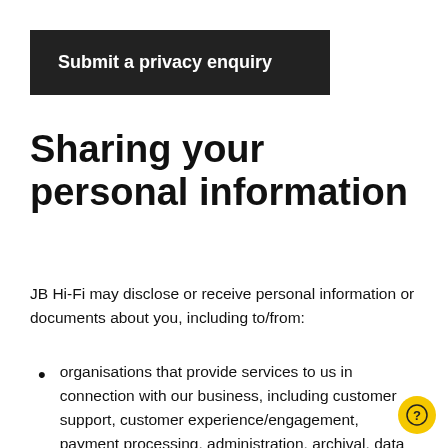[Figure (other): Dark button/banner with text 'Submit a privacy enquiry']
Sharing your personal information
JB Hi-Fi may disclose or receive personal information or documents about you, including to/from:
organisations that provide services to us in connection with our business, including customer support, customer experience/engagement, payment processing, administration, archival, data storage, data analytics, hosting, research, mail and delivery, installation, distribution, logistics